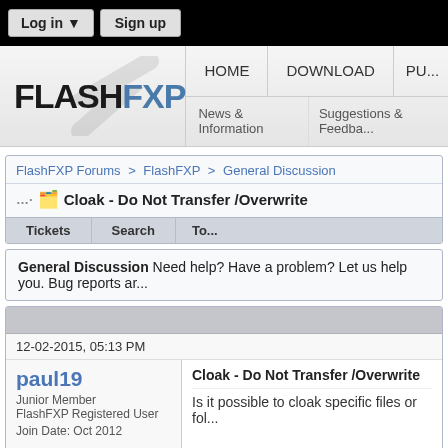Log in ▼   Sign up
[Figure (logo): FlashFXP logo with stylized lightning bolt swoosh. Text: FLASHFXP with navigation items HOME, DOWNLOAD, PU... and sub-nav News & Information, Suggestions & Feedba...]
FlashFXP Forums > FlashFXP > General Discussion
Cloak - Do Not Transfer /Overwrite
| Tickets | Search | To... |
| --- | --- | --- |
General Discussion Need help? Have a problem? Let us help you. Bug reports ar...
12-02-2015, 05:13 PM
paul19
Junior Member
FlashFXP Registered User
Join Date: Oct 2012
Cloak - Do Not Transfer /Overwrite
Is it possible to cloak specific files or fol...